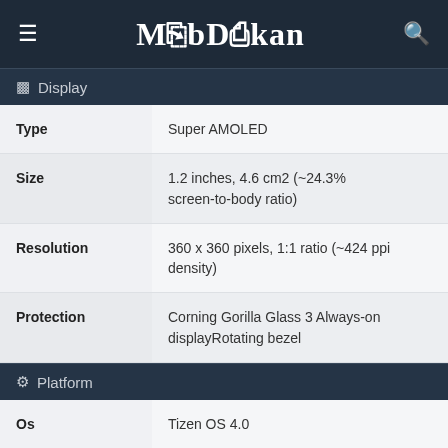MobDokan
Display
| Property | Value |
| --- | --- |
| Type | Super AMOLED |
| Size | 1.2 inches, 4.6 cm2 (~24.3% screen-to-body ratio) |
| Resolution | 360 x 360 pixels, 1:1 ratio (~424 ppi density) |
| Protection | Corning Gorilla Glass 3 Always-on displayRotating bezel |
Platform
| Property | Value |
| --- | --- |
| Os | Tizen OS 4.0 |
| Chipset | Exynos 3250 Dual |
| Cpu | Dual-core 1.0 GHz Cortex-A7 |